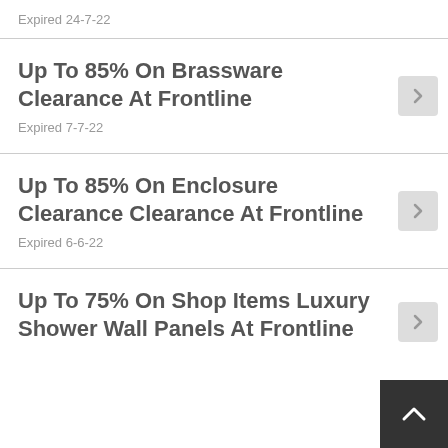Expired 24-7-22
Up To 85% On Brassware Clearance At Frontline
Expired 7-7-22
Up To 85% On Enclosure Clearance Clearance At Frontline
Expired 6-6-22
Up To 75% On Shop Items Luxury Shower Wall Panels At Frontline